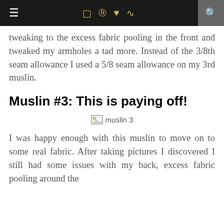≡  [instagram] [pinterest] [heart] [rss]  [search]
tweaking to the excess fabric pooling in the front and tweaked my armholes a tad more. Instead of the 3/8th seam allowance I used a 5/8 seam allowance on my 3rd muslin.
Muslin #3: This is paying off!
[Figure (photo): Broken image placeholder labeled 'muslin 3']
I was happy enough with this muslin to move on to some real fabric. After taking pictures I discovered I still had some issues with my back, excess fabric pooling around the